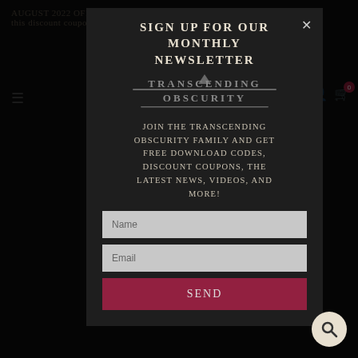AUGUST 2022 OFFERS - SAVE 10% on orders this month with this discount coupon - aug2022
SIGN UP FOR OUR MONTHLY NEWSLETTER
[Figure (logo): Transcending Obscurity logo - gothic metal band/label logo with decorative lettering]
Join the Transcending Obscurity family and get free download codes, discount coupons, the latest news, videos, and more!
Name
Email
Send